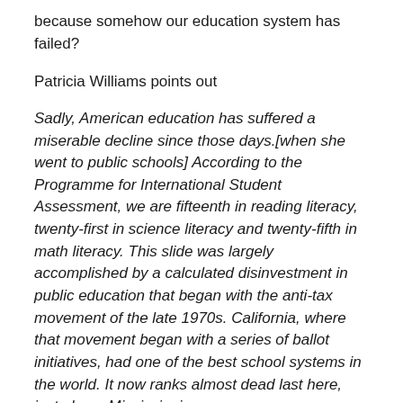because somehow our education system has failed?
Patricia Williams points out
Sadly, American education has suffered a miserable decline since those days.[when she went to public schools] According to the Programme for International Student Assessment, we are fifteenth in reading literacy, twenty-first in science literacy and twenty-fifth in math literacy. This slide was largely accomplished by a calculated disinvestment in public education that began with the anti-tax movement of the late 1970s. California, where that movement began with a series of ballot initiatives, had one of the best school systems in the world. It now ranks almost dead last here, just above Mississippi.
There's a curious tension in politics between the popular